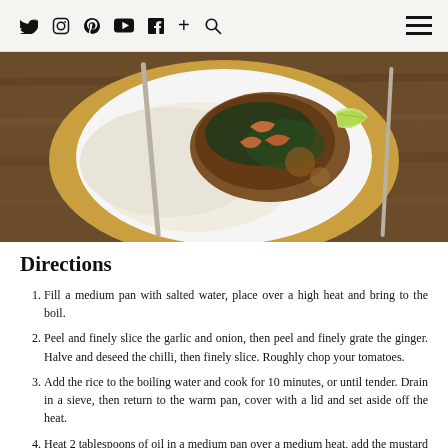Social media icons: Twitter, Instagram, Pinterest, YouTube, Facebook, +, Search, and hamburger menu
[Figure (photo): Overhead view of a white plate with shrimp curry over white rice with a lime wedge, placed on a wooden table with silverware]
Directions
Fill a medium pan with salted water, place over a high heat and bring to the boil.
Peel and finely slice the garlic and onion, then peel and finely grate the ginger. Halve and deseed the chilli, then finely slice. Roughly chop your tomatoes.
Add the rice to the boiling water and cook for 10 minutes, or until tender. Drain in a sieve, then return to the warm pan, cover with a lid and set aside off the heat.
Heat 2 tablespoons of oil in a medium pan over a medium heat, add the mustard seeds, garam masala and turmeric, then fry for 1 minute.